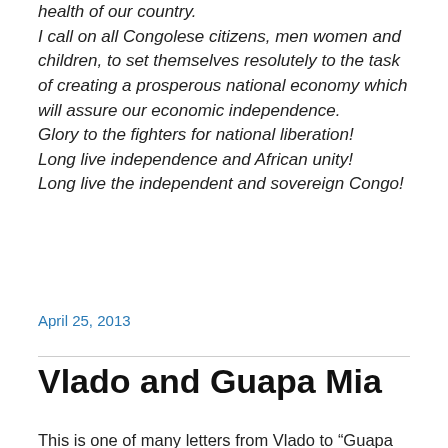health of our country.
I call on all Congolese citizens, men women and children, to set themselves resolutely to the task of creating a prosperous national economy which will assure our economic independence.
Glory to the fighters for national liberation!
Long live independence and African unity!
Long live the independent and sovereign Congo!
April 25, 2013
Vlado and Guapa Mia
This is one of many letters from Vlado to “Guapa Mia” in Madrid (He writes to her in English, she writes back to him in French), dated 28/7/1953: